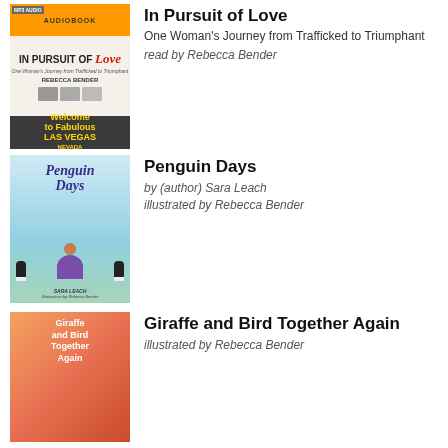[Figure (photo): Audiobook cover of 'In Pursuit of Love' showing a woman, Las Vegas sign, orange border, MP3 audio badge]
In Pursuit of Love
One Woman's Journey from Trafficked to Triumphant
read by Rebecca Bender
[Figure (photo): Book cover of 'Penguin Days' by Sara Leach, illustrated by Rebecca Bender, showing a girl in purple dress with penguins]
Penguin Days
by (author) Sara Leach
illustrated by Rebecca Bender
[Figure (photo): Book cover of 'Giraffe and Bird Together Again' illustrated by Rebecca Bender, showing warm orange and red tones]
Giraffe and Bird Together Again
illustrated by Rebecca Bender